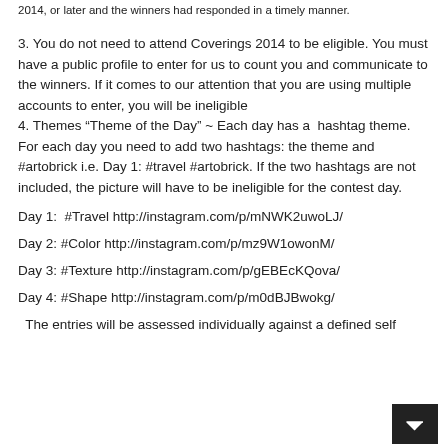2014, or later and the winners had responded in a timely manner.
3. You do not need to attend Coverings 2014 to be eligible. You must have a public profile to enter for us to count you and communicate to the winners. If it comes to our attention that you are using multiple accounts to enter, you will be ineligible
4. Themes “Theme of the Day” ~ Each day has a hashtag theme. For each day you need to add two hashtags: the theme and #artobrick i.e. Day 1: #travel #artobrick. If the two hashtags are not included, the picture will have to be ineligible for the contest day.
Day 1: #Travel http://instagram.com/p/mNWK2uwoLJ/
Day 2: #Color http://instagram.com/p/mz9W1owonM/
Day 3: #Texture http://instagram.com/p/gEBEcKQova/
Day 4: #Shape http://instagram.com/p/m0dBJBwokg/
The entries will be assessed individually against a defined self